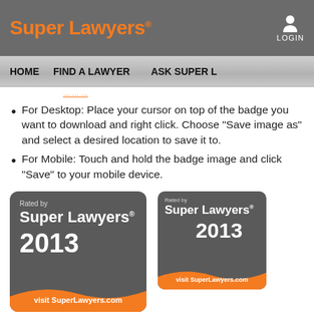Super Lawyers® | LOGIN
HOME   FIND A LAWYER   ASK SUPER L…
For Desktop: Place your cursor on top of the badge you want to download and right click. Choose "Save image as" and select a desired location to save it to.
For Mobile: Touch and hold the badge image and click "Save" to your mobile device.
[Figure (logo): Rated by Super Lawyers 2013 badge - large version with visit SuperLawyers.com footer]
[Figure (logo): Rated by Super Lawyers 2013 badge - small version with visit SuperLawyers.com footer]